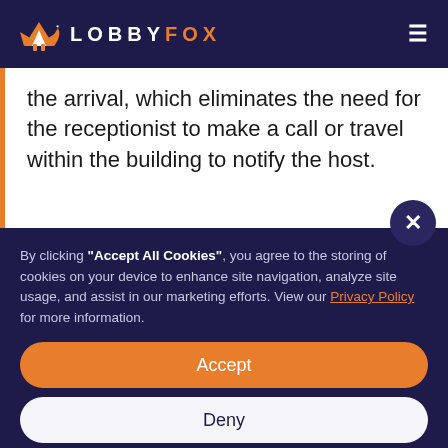LOBBYFOX
the arrival, which eliminates the need for the receptionist to make a call or travel within the building to notify the host.
By clicking "Accept All Cookies", you agree to the storing of cookies on your device to enhance site navigation, analyze site usage, and assist in our marketing efforts. View our Privacy Policy for more information.
Accept
Deny
Preferences